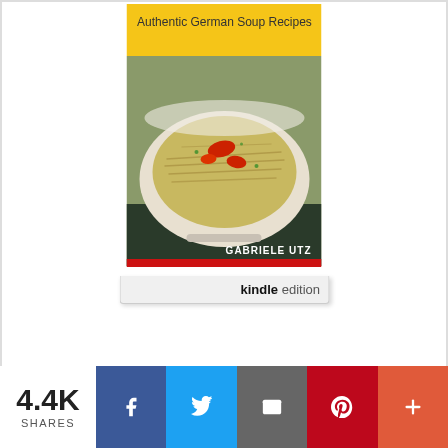[Figure (photo): Book cover for 'Authentic German Soup Recipes' by Gabriele Utz. Yellow banner at top with title text, photo of a white bowl of noodle soup with red pepper garnish, author name 'GABRIELE UTZ' in white text at bottom right, red stripe at very bottom. Below the cover is a 'kindle edition' tab.]
INGREDIENT INFORMATION
This website uses cookies to improve your experience. We'll assume you're ok with this, but you can opt-out if you wish.
4.4K SHARES